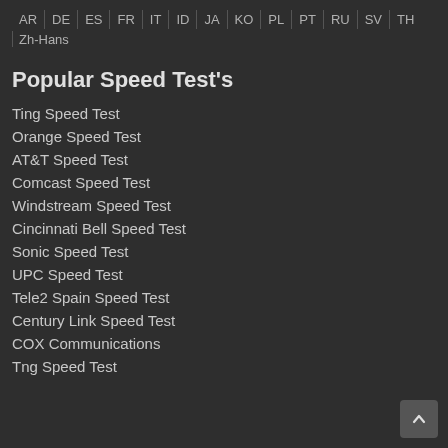AR | DE | ES | FR | IT | ID | JA | KO | PL | PT | RU | SV | TH | Zh-Hans
Popular Speed Test's
Ting Speed Test
Orange Speed Test
AT&T Speed Test
Comcast Speed Test
Windstream Speed Test
Cincinnati Bell Speed Test
Sonic Speed Test
UPC Speed Test
Tele2 Spain Speed Test
Century Link Speed Test
COX Communications
Tng Speed Test